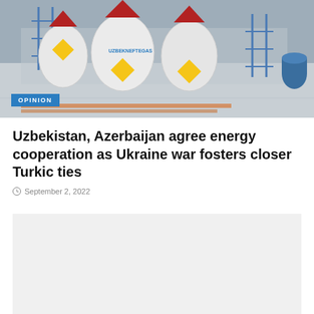[Figure (photo): Industrial gas storage tanks (cylinders) with red cone tops in a facility yard, labeled UZBEKNEFTEGAS, with blue metal scaffolding structures. An 'OPINION' badge overlays the bottom-left of the image.]
Uzbekistan, Azerbaijan agree energy cooperation as Ukraine war fosters closer Turkic ties
September 2, 2022
[Figure (photo): Partially visible secondary image placeholder (light gray background, content not fully visible)]